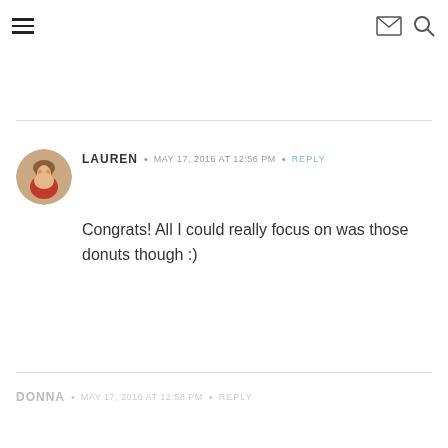Navigation header with hamburger menu, mail icon, and search icon
LAUREN • MAY 17, 2016 AT 12:56 PM • REPLY
Congrats! All I could really focus on was those donuts though :)
DONNA • MAY 17, 2016 AT 12:58 PM • REPLY